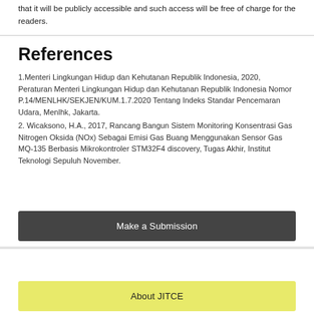that it will be publicly accessible and such access will be free of charge for the readers.
References
1.Menteri Lingkungan Hidup dan Kehutanan Republik Indonesia, 2020, Peraturan Menteri Lingkungan Hidup dan Kehutanan Republik Indonesia Nomor P.14/MENLHK/SEKJEN/KUM.1.7.2020 Tentang Indeks Standar Pencemaran Udara, Menlhk, Jakarta.
2. Wicaksono, H.A., 2017, Rancang Bangun Sistem Monitoring Konsentrasi Gas Nitrogen Oksida (NOx) Sebagai Emisi Gas Buang Menggunakan Sensor Gas MQ-135 Berbasis Mikrokontroler STM32F4 discovery, Tugas Akhir, Institut Teknologi Sepuluh November.
Make a Submission
About JITCE